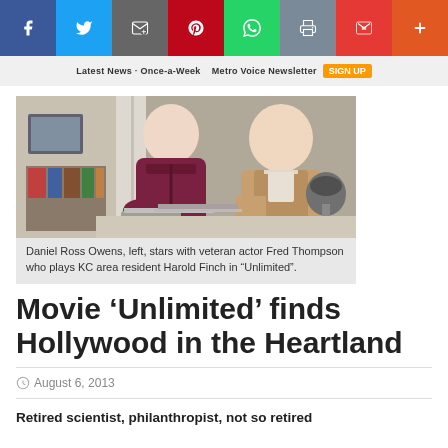[Figure (infographic): Social media share bar with Facebook (blue), Twitter (light blue), Email (dark gray), Pinterest (red), WhatsApp (green), Print (gray), Gmail (red), More (orange) buttons]
[Figure (screenshot): Newsletter signup banner: Latest News Once-a-Week Metro Voice Newsletter with SIGN UP button]
[Figure (photo): Daniel Ross Owens, left, stars with veteran actor Fred Thompson who plays KC area resident Harold Finch in 'Unlimited'. Two men leaning over a laptop in a home setting.]
Daniel Ross Owens, left, stars with veteran actor Fred Thompson who plays KC area resident Harold Finch in “Unlimited”.
Movie ‘Unlimited’ finds Hollywood in the Heartland
August 6, 2013
Retired scientist, philanthropist, not so retired